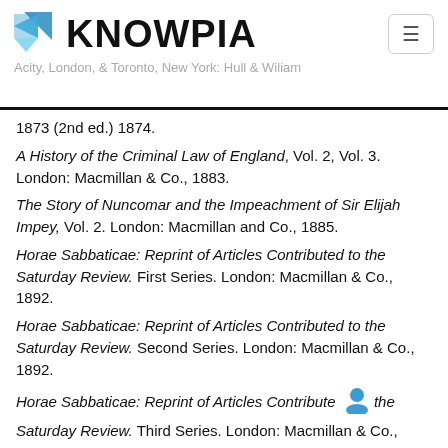KNOWPIA
1873 (2nd ed.) 1874.
A History of the Criminal Law of England, Vol. 2, Vol. 3. London: Macmillan & Co., 1883.
The Story of Nuncomar and the Impeachment of Sir Elijah Impey, Vol. 2. London: Macmillan and Co., 1885.
Horae Sabbaticae: Reprint of Articles Contributed to the Saturday Review. First Series. London: Macmillan & Co., 1892.
Horae Sabbaticae: Reprint of Articles Contributed to the Saturday Review. Second Series. London: Macmillan & Co., 1892.
Horae Sabbaticae: Reprint of Articles Contribute the Saturday Review. Third Series. London: Macmillan & Co., 1892.